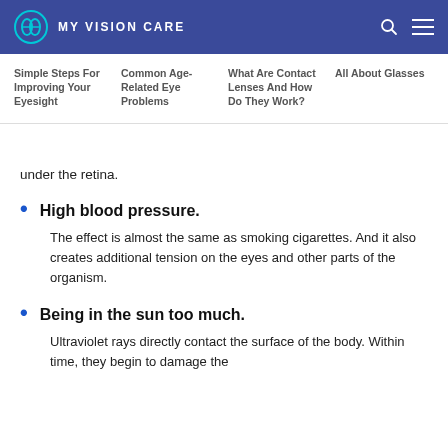MY VISION CARE
Simple Steps For Improving Your Eyesight | Common Age-Related Eye Problems | What Are Contact Lenses And How Do They Work? | All About Glasses
under the retina.
High blood pressure.
The effect is almost the same as smoking cigarettes. And it also creates additional tension on the eyes and other parts of the organism.
Being in the sun too much.
Ultraviolet rays directly contact the surface of the body. Within time, they begin to damage the